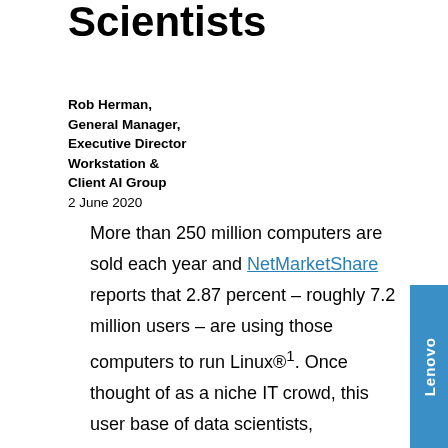Scientists
Rob Herman,
General Manager,
Executive Director
Workstation &
Client AI Group
2 June 2020
More than 250 million computers are sold each year and NetMarketShare reports that 2.87 percent – roughly 7.2 million users – are using those computers to run Linux®¹. Once thought of as a niche IT crowd, this user base of data scientists, developers, application engineers